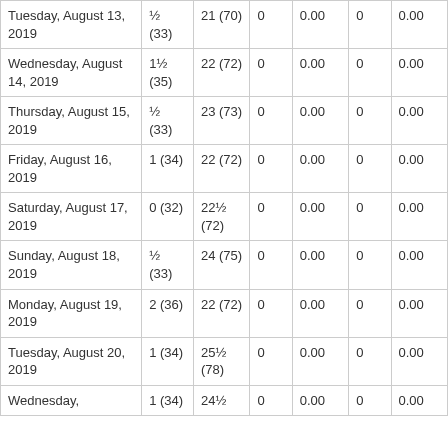| Tuesday, August 13, 2019 | ½ (33) | 21 (70) | 0 | 0.00 | 0 | 0.00 |
| Wednesday, August 14, 2019 | 1½ (35) | 22 (72) | 0 | 0.00 | 0 | 0.00 |
| Thursday, August 15, 2019 | ½ (33) | 23 (73) | 0 | 0.00 | 0 | 0.00 |
| Friday, August 16, 2019 | 1 (34) | 22 (72) | 0 | 0.00 | 0 | 0.00 |
| Saturday, August 17, 2019 | 0 (32) | 22½ (72) | 0 | 0.00 | 0 | 0.00 |
| Sunday, August 18, 2019 | ½ (33) | 24 (75) | 0 | 0.00 | 0 | 0.00 |
| Monday, August 19, 2019 | 2 (36) | 22 (72) | 0 | 0.00 | 0 | 0.00 |
| Tuesday, August 20, 2019 | 1 (34) | 25½ (78) | 0 | 0.00 | 0 | 0.00 |
| Wednesday, | 1 (34) | 24½ | 0 | 0.00 | 0 | 0.00 |